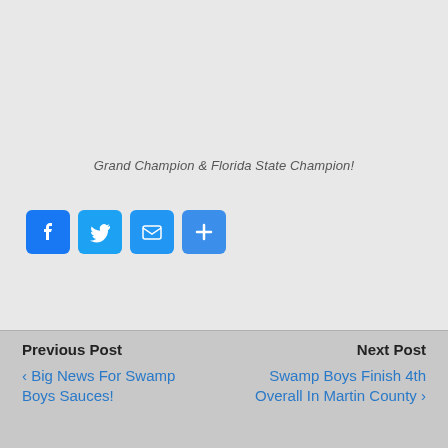Grand Champion & Florida State Champion!
[Figure (infographic): Social sharing buttons: Facebook (blue), Twitter (light blue), Email (blue), Add/Share (blue)]
Previous Post
‹ Big News For Swamp Boys Sauces!
Next Post
Swamp Boys Finish 4th Overall In Martin County ›